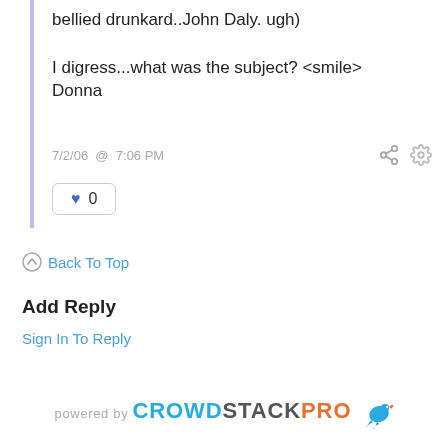bellied drunkard..John Daly. ugh)

I digress...what was the subject? <smile>
Donna
7/2/06 @ 7:06 PM
♥ 0
Back To Top
Add Reply
Sign In To Reply
powered by CROWDSTACKPRO